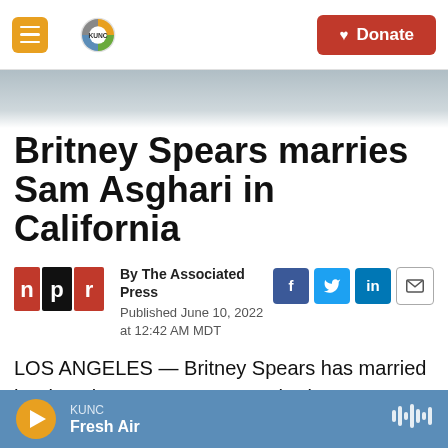KUNC — Donate
[Figure (screenshot): KUNC news website header with hamburger menu, KUNC logo, and red Donate button]
Britney Spears marries Sam Asghari in California
By The Associated Press
Published June 10, 2022 at 12:42 AM MDT
LOS ANGELES — Britney Spears has married her longtime partner Sam Asghari at a Southern
KUNC Fresh Air